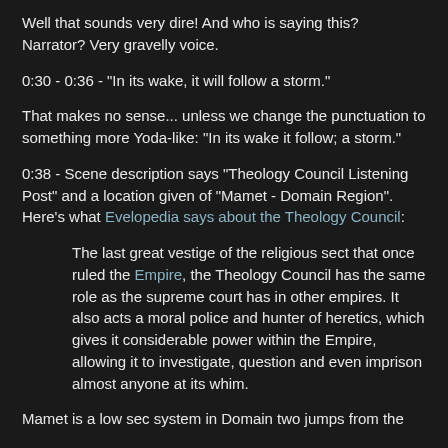Well that sounds very dire! And who is saying this? Narrator? Very gravelly voice.
0:30 - 0:36 - "In its wake, it will follow a storm."
That makes no sense... unless we change the punctuation to something more Yoda-like: "In its wake it follow; a storm."
0:38 - Scene description says "Theology Council Listening Post" and a location given of "Mamet - Domain Region". Here's what Evelopedia says about the Theology Council:
The last great vestige of the religious sect that once ruled the Empire, the Theology Council has the same role as the supreme court has in other empires. It also acts a moral police and hunter of heretics, which gives it considerable power within the Empire, allowing it to investigate, question and even imprison almost anyone at its whim.
Mamet is a low sec system in Domain two jumps from the